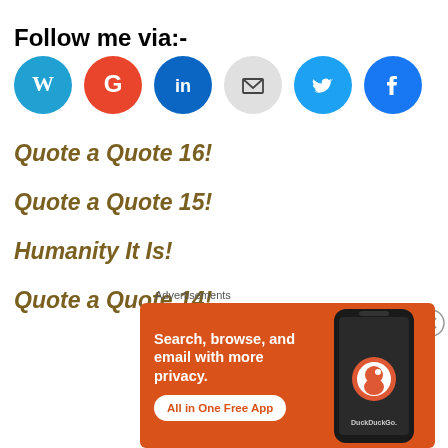Follow me via:-
[Figure (infographic): Row of six social media icon circles: WordPress (blue), Google (red), LinkedIn (dark blue), Email/Mail (gray), Twitter (light blue), Facebook (blue)]
Quote a Quote 16!
Quote a Quote 15!
Humanity It Is!
Quote a Quote 14!
[Figure (screenshot): DuckDuckGo advertisement banner on orange background. Text: 'Search, browse, and email with more privacy. All in One Free App'. Shows a phone with DuckDuckGo app.]